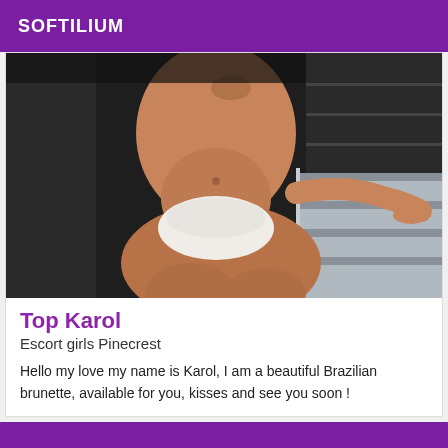SOFTILIUM
[Figure (photo): Photo of a woman's torso in white lingerie, standing in front of what appears to be dark kitchen appliances]
Top Karol
Escort girls Pinecrest
Hello my love my name is Karol, I am a beautiful Brazilian brunette, available for you, kisses and see you soon !